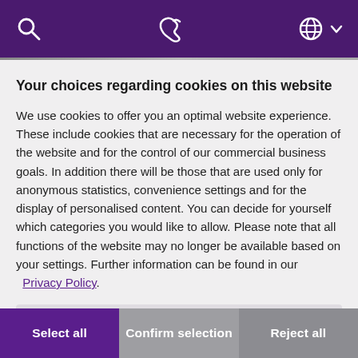[Figure (screenshot): Purple navigation bar with search icon, phone icon, globe icon and dropdown arrow on white/dark background]
Your choices regarding cookies on this website
We use cookies to offer you an optimal website experience. These include cookies that are necessary for the operation of the website and for the control of our commercial business goals. In addition there will be those that are used only for anonymous statistics, convenience settings and for the display of personalised content. You can decide for yourself which categories you would like to allow. Please note that all functions of the website may no longer be available based on your settings. Further information can be found in our Privacy Policy.
Essential (checked), Statistics (unchecked), Convenience & marketing (unchecked)
Select all | Confirm selection | Reject all